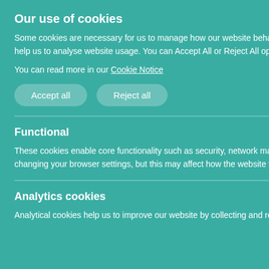Give us grace that we may cast away the works of darkness, and put upon us the armour of light, now in the time of this mortal life ... glorious Majesty ... both the quick and the dead ... immortal, that with him can live and reigneth with the ... Holy Spirit, now and ever,
Our use of cookies
Some cookies are necessary for us to manage how our website behaves while other optional, or non-necessary, cookies help us to analyse website usage. You can Accept All or Reject All optional cookies or control individual cookie types below.
You can read more in our Cookie Notice
Accept all   Reject all
Functional
These cookies enable core functionality such as security, network management, and accessibility. You may disable these by changing your browser settings, but this may affect how the website functions.
Analytics cookies
Analytical cookies help us to improve our website by collecting and reporting information on its usage.